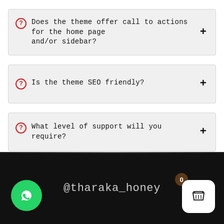Does the theme offer call to actions for the home page and/or sidebar?
Is the theme SEO friendly?
What level of support will you require?
[Figure (screenshot): Mobile app bottom bar with WhatsApp button, @tharaka_honey text, and shopping cart icon with badge showing 0]
@tharaka_honey